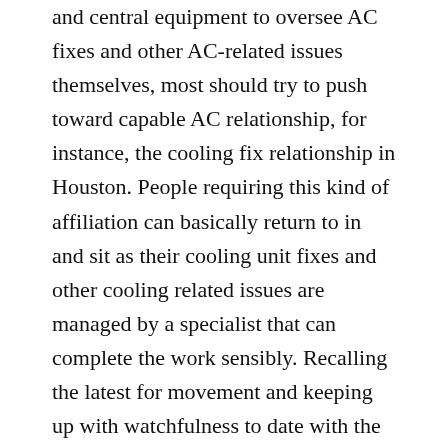and central equipment to oversee AC fixes and other AC-related issues themselves, most should try to push toward capable AC relationship, for instance, the cooling fix relationship in Houston. People requiring this kind of affiliation can basically return to in and sit as their cooling unit fixes and other cooling related issues are managed by a specialist that can complete the work sensibly. Recalling the latest for movement and keeping up with watchfulness to date with the latest updates in the business, Standard Heating and Air Conditionings basically set up experts will dependably complete the work unequivocally.
We at Del-Air Heating are really looking for experienced assistants with earth shattering